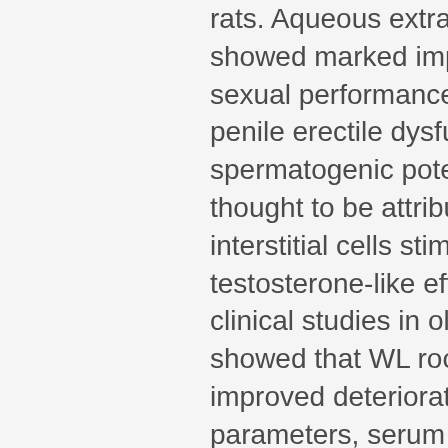rats. Aqueous extract of the roots of WS showed marked impairment in libido, sexual performance, sexual vigor and penile erectile dysfunction in rats. The spermatogenic potential of WS was thought to be attributed to increased interstitial cells stimulating hormone and testosterone-like effects 4. Controlled clinical studies in oligospermia patients showed that WL root extract significantly improved deteriorated semen parameters, serum testosterone level and inhibited lipid peroxidation as compared to placebo-treated patients 5-7. The roots of WS were found